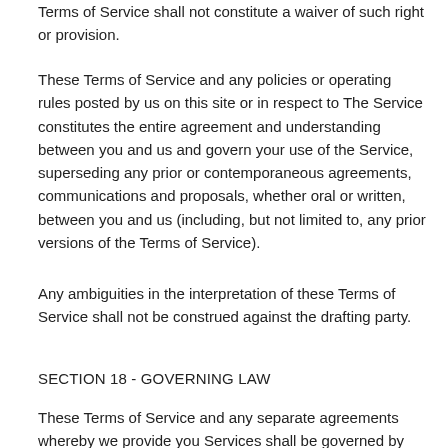Terms of Service shall not constitute a waiver of such right or provision.
These Terms of Service and any policies or operating rules posted by us on this site or in respect to The Service constitutes the entire agreement and understanding between you and us and govern your use of the Service, superseding any prior or contemporaneous agreements, communications and proposals, whether oral or written, between you and us (including, but not limited to, any prior versions of the Terms of Service).
Any ambiguities in the interpretation of these Terms of Service shall not be construed against the drafting party.
SECTION 18 - GOVERNING LAW
These Terms of Service and any separate agreements whereby we provide you Services shall be governed by and construed in accordance with the laws of 2228 Papermill Rd, Winchester, VA, 22601, United States.
SECTION 19 - CHANGES TO TERMS OF SERVICE